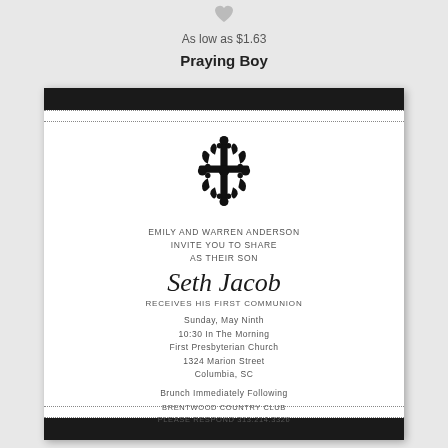[Figure (illustration): Small gray heart icon at top center]
As low as $1.63
Praying Boy
[Figure (illustration): First Communion invitation card with black border bars, dotted strips, ornate cross illustration, and text: Emily and Warren Anderson invite you to share as their son Seth Jacob receives his first communion. Sunday, May ninth, 10:30 in the morning, First Presbyterian Church, 1324 Marion Street, Columbia, SC. Brunch immediately following. Brentwood Country Club, Please respond 313.214.3326]